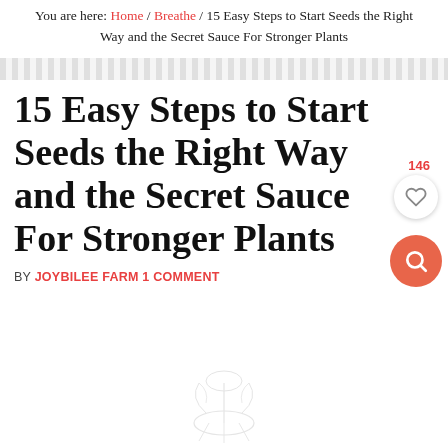You are here: Home / Breathe / 15 Easy Steps to Start Seeds the Right Way and the Secret Sauce For Stronger Plants
15 Easy Steps to Start Seeds the Right Way and the Secret Sauce For Stronger Plants
BY JOYBILEE FARM 1 COMMENT
[Figure (illustration): Small botanical illustration of a plant with roots and leaves at the bottom of the page]